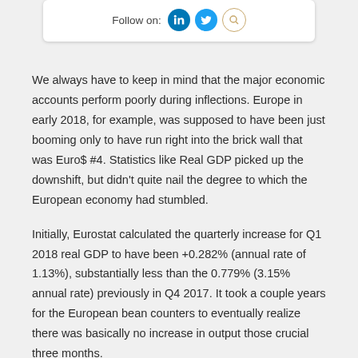[Figure (other): Follow on: social media icons for LinkedIn, Twitter, and a search/other icon]
We always have to keep in mind that the major economic accounts perform poorly during inflections. Europe in early 2018, for example, was supposed to have been just booming only to have run right into the brick wall that was Euro$ #4. Statistics like Real GDP picked up the downshift, but didn't quite nail the degree to which the European economy had stumbled.
Initially, Eurostat calculated the quarterly increase for Q1 2018 real GDP to have been +0.282% (annual rate of 1.13%), substantially less than the 0.779% (3.15% annual rate) previously in Q4 2017. It took a couple years for the European bean counters to eventually realize there was basically no increase in output those crucial three months.
And while Q2 GDP was revised higher than originally, Q3 like Q1 was